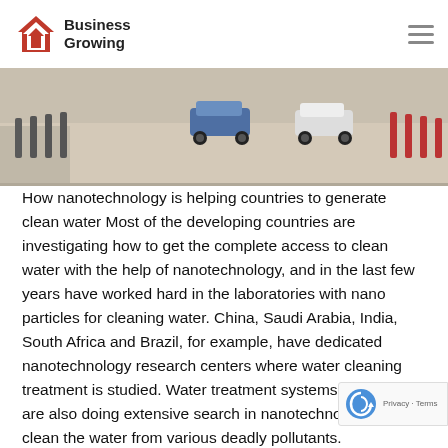Business Growing
[Figure (photo): Street scene with cars, bollards, and a sidewalk — hero banner image]
How nanotechnology is helping countries to generate clean water
Most of the developing countries are investigating how to get the complete access to clean water with the help of nanotechnology, and in the last few years have worked hard in the laboratories with nano particles for cleaning water. China, Saudi Arabia, India, South Africa and Brazil, for example, have dedicated nanotechnology research centers where water cleaning treatment is studied. Water treatment systems in Russia are also doing extensive search in nanotechnology to clean the water from various deadly pollutants. Nanotechnology primarily consists of the processing, consolidation, separation, and deformation of materials by one molecule or one atom", the methods and tools for nanotechnology consist measuring, imaging, modelling, and manipulating matter at the nano scale. Diagnosis of particles at the nano scale stage contributed comprehensively to the modification, production, and